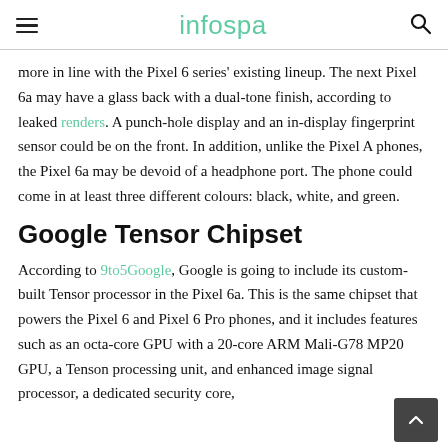infospa
more in line with the Pixel 6 series' existing lineup. The next Pixel 6a may have a glass back with a dual-tone finish, according to leaked renders. A punch-hole display and an in-display fingerprint sensor could be on the front. In addition, unlike the Pixel A phones, the Pixel 6a may be devoid of a headphone port. The phone could come in at least three different colours: black, white, and green.
Google Tensor Chipset
According to 9to5Google, Google is going to include its custom-built Tensor processor in the Pixel 6a. This is the same chipset that powers the Pixel 6 and Pixel 6 Pro phones, and it includes features such as an octa-core GPU with a 20-core ARM Mali-G78 MP20 GPU, a Tenson processing unit, and enhanced image signal processor, a dedicated security core,